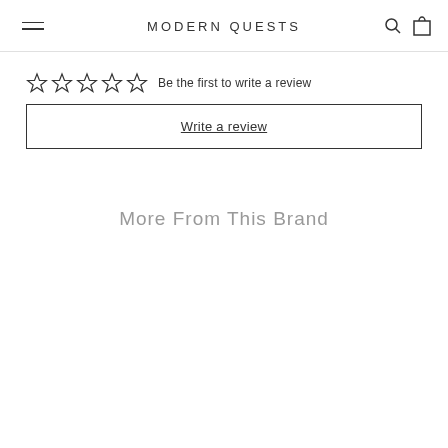MODERN QUESTS
☆☆☆☆☆  Be the first to write a review
Write a review
More From This Brand